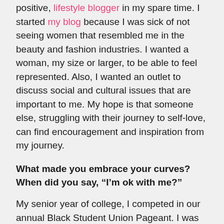positive, lifestyle blogger in my spare time. I started my blog because I was sick of not seeing women that resembled me in the beauty and fashion industries. I wanted a woman, my size or larger, to be able to feel represented. Also, I wanted an outlet to discuss social and cultural issues that are important to me. My hope is that someone else, struggling with their journey to self-love, can find encouragement and inspiration from my journey.
What made you embrace your curves? When did you say, “I’m ok with me?”
My senior year of college, I competed in our annual Black Student Union Pageant. I was often asked, but I did not think that I was pageant material. For most of my life, I felt ugly, and ostracized because of my weight and how I look. My senior year, I decided to step outside of my comfort zone and participate in the pageant.